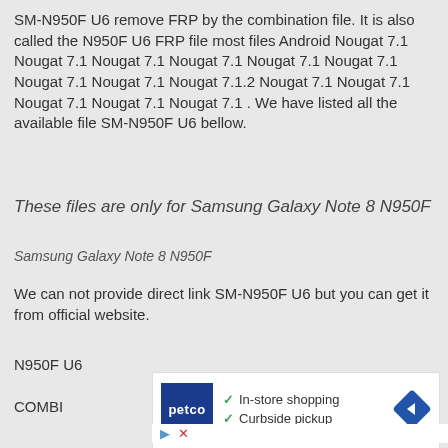SM-N950F U6 remove FRP by the combination file. It is also called the N950F U6 FRP file most files Android Nougat 7.1 Nougat 7.1 Nougat 7.1 Nougat 7.1 Nougat 7.1 Nougat 7.1 Nougat 7.1 Nougat 7.1 Nougat 7.1.2 Nougat 7.1 Nougat 7.1 Nougat 7.1 Nougat 7.1 Nougat 7.1 . We have listed all the available file SM-N950F U6 bellow.
These files are only for Samsung Galaxy Note 8 N950F
Samsung Galaxy Note 8 N950F
We can not provide direct link SM-N950F U6 but you can get it from official website.
N950F U6
COMBI
[Figure (other): Advertisement banner for Petco showing logo, checkmarks for In-store shopping and Curbside pickup, and a blue diamond arrow icon]